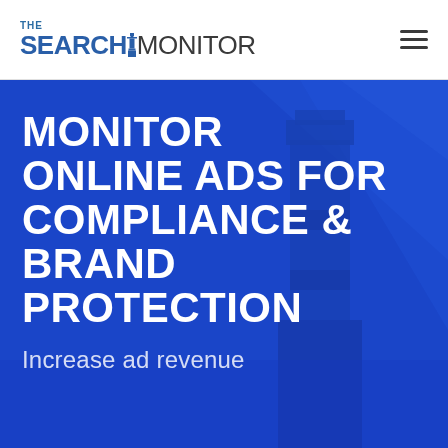THE SEARCH MONITOR
MONITOR ONLINE ADS FOR COMPLIANCE & BRAND PROTECTION
Increase ad revenue